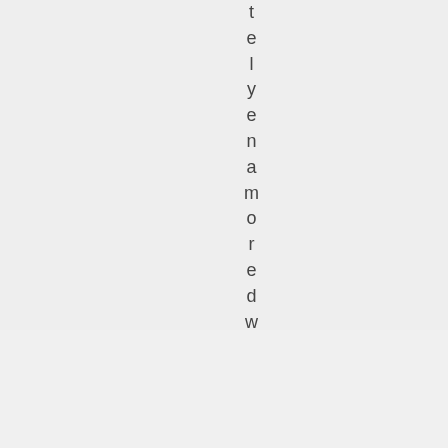t e l y e n a m o r e d w
Advertisements
[Figure (photo): Seamless food delivery advertisement banner showing pizza slices on the left, a red Seamless logo badge in the center, and an 'ORDER NOW' button on the right, all on a dark background.]